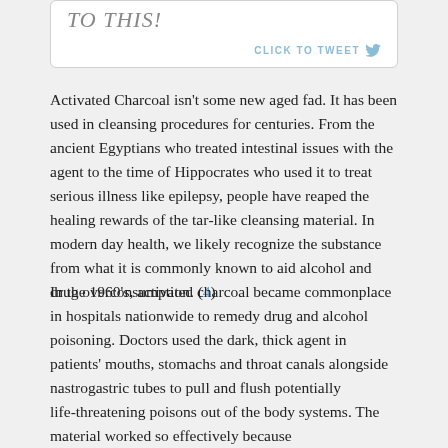[Figure (screenshot): Tweet box with partial italic text at top and 'CLICK TO TWEET' button with Twitter bird icon at bottom right]
Activated Charcoal isn't some new aged fad. It has been used in cleansing procedures for centuries. From the ancient Egyptians who treated intestinal issues with the agent to the time of Hippocrates who used it to treat serious illness like epilepsy, people have reaped the healing rewards of the tar-like cleansing material. In modern day health, we likely recognize the substance from what it is commonly known to aid alcohol and drug overconsumption. (4)
In the 1960's, activated charcoal became commonplace in hospitals nationwide to remedy drug and alcohol poisoning. Doctors used the dark, thick agent in patients' mouths, stomachs and throat canals alongside nastrogastric tubes to pull and flush potentially life-threatening poisons out of the body systems. The material worked so effectively because